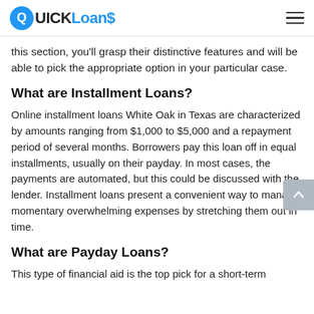QuickLoans
this section, you'll grasp their distinctive features and will be able to pick the appropriate option in your particular case.
What are Installment Loans?
Online installment loans White Oak in Texas are characterized by amounts ranging from $1,000 to $5,000 and a repayment period of several months. Borrowers pay this loan off in equal installments, usually on their payday. In most cases, the payments are automated, but this could be discussed with the lender. Installment loans present a convenient way to manage momentary overwhelming expenses by stretching them out in time.
What are Payday Loans?
This type of financial aid is the top pick for a short-term